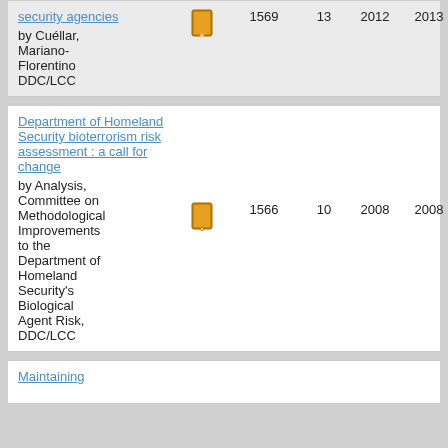| Title | Type | ID | N | Year1 | Year2 |
| --- | --- | --- | --- | --- | --- |
| security agencies
by Cuéllar, Mariano-Florentino
DDC/LCC | [book icon] | 1569 | 13 | 2012 | 2013 |
| Department of Homeland Security bioterrorism risk assessment : a call for change
by Analysis, Committee on Methodological Improvements to the Department of Homeland Security's Biological Agent Risk,
DDC/LCC | [book icon] | 1566 | 10 | 2008 | 2008 |
| Maintaining |  |  |  |  |  |